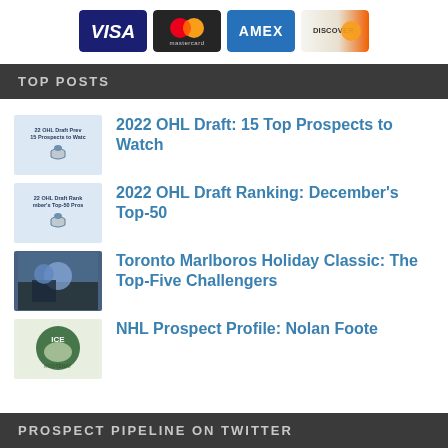[Figure (logo): Payment method logos: Visa, Mastercard, Amex, Discover]
TOP POSTS
2022 OHL Draft: 15 Top Prospects to Watch
2022 OHL Draft Ranking: December's Top-50
Toronto Marlboros Holiday Classic: The Top-Five Challengers
NHL Prospect Profile: Nolan Foote
PROSPECT PIPELINE ON TWITTER